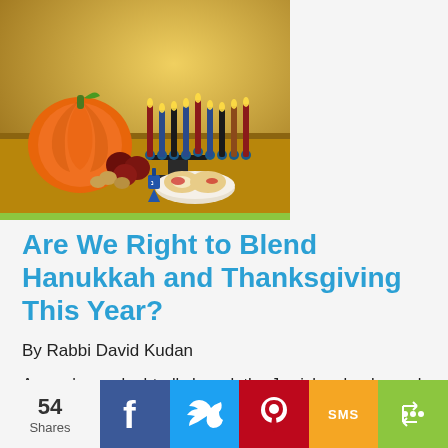[Figure (photo): Photo of a Hanukkah menorah with colored candles alongside a pumpkin, apples, walnuts, donuts on a plate, and a blue dreidel — combining Hanukkah and Thanksgiving symbols]
Are We Right to Blend Hanukkah and Thanksgiving This Year?
By Rabbi David Kudan
As you've undoubtedly heard, the Jewish calendar and the secular calendar offer a strange convergence in the United States this year as Hanukkah and Thanksgiving coincide. The Jewish